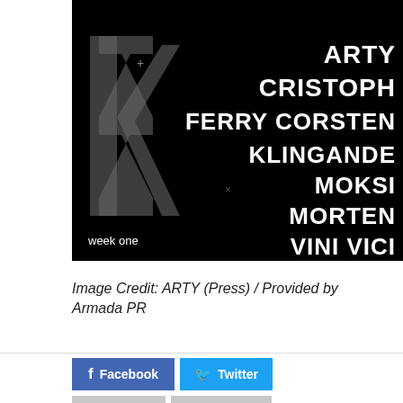[Figure (illustration): Event poster on black background showing artist lineup: ARTY, CRISTOPH, FERRY CORSTEN, KLINGANDE, MOKSI, MORTEN, VINI VICI in large white bold text on the right side. A large stylized 'K' logo in grey on the left. Text 'week one' in white at the bottom left.]
Image Credit: ARTY (Press) / Provided by Armada PR
Facebook
Twitter
Google+
VKontakte